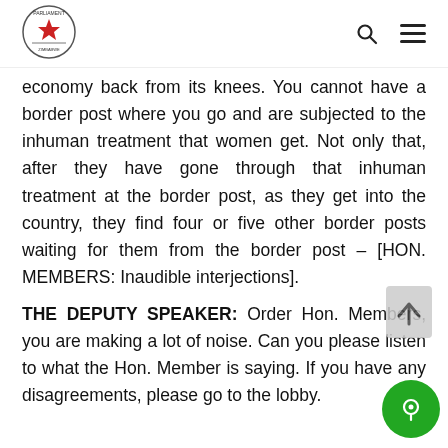Parliament of Zimbabwe
economy back from its knees. You cannot have a border post where you go and are subjected to the inhuman treatment that women get. Not only that, after they have gone through that inhuman treatment at the border post, as they get into the country, they find four or five other border posts waiting for them from the border post – [HON. MEMBERS: Inaudible interjections].
THE DEPUTY SPEAKER: Order Hon. Members, you are making a lot of noise. Can you please listen to what the Hon. Member is saying. If you have any disagreements, please go to the lobby.